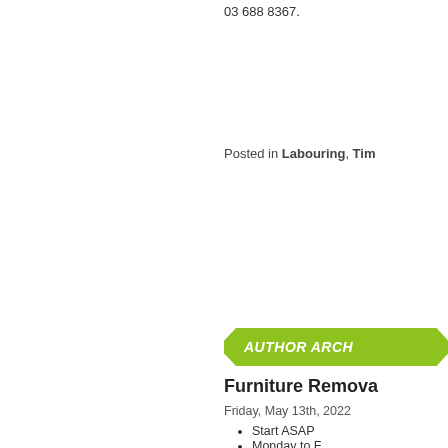03 688 8367.
Posted in Labouring, Tim
AUTHOR ARCH
Furniture Remova
Friday, May 13th, 2022
Start ASAP
Monday to F
Great team
Class 2 licence is pre good driving habits. T base. Therefore, you have a reasonable lev